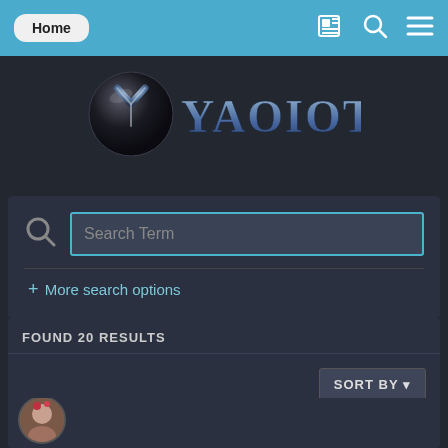Home
[Figure (logo): YaoiOtaku website logo — metallic Y letter on a dark sphere with stylized metallic text reading YAOIOTAKU]
Search Term
+ More search options
FOUND 20 RESULTS
SORT BY ▾